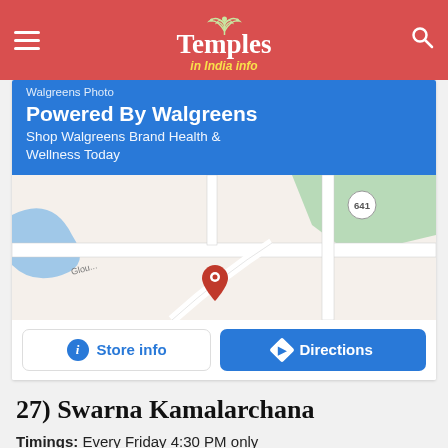Temples in India info
[Figure (screenshot): Walgreens advertisement banner with blue background showing 'Walgreens Photo' at top, 'Powered By Walgreens' as heading, and 'Shop Walgreens Brand Health & Wellness Today' as subtext]
[Figure (map): Google Maps screenshot showing a road map with a red location pin marker, roads, green areas, water body, and route 641 labeled]
[Figure (screenshot): Two buttons: 'Store info' with info icon and 'Directions' with navigation icon on blue background]
27) Swarna Kamalarchana
Timings: Every Friday 4:30 PM only
Ticket Price: Rs 1000/-